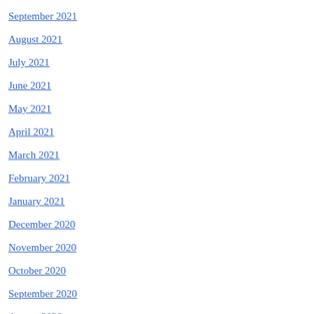September 2021
August 2021
July 2021
June 2021
May 2021
April 2021
March 2021
February 2021
January 2021
December 2020
November 2020
October 2020
September 2020
August 2020
July 2020
June 2020
May 2020
entrepreneurs that a... sacrifice to be more... in their spare time.
All things being equa... focus on building the... founder. But things a... experiments serve as... to a startup which sh...
Like
Reply
Alan Wilensky, on March 29, 2011 at 6:31 am
There was a ABC news story about small b... have a policy for startups and small busines... stipulation, most of the money is carefully c... rent, labor, capex. They even loosen credit... process to under one week. Foreigners are... business Visa.
Loading...
Reply
David, on March 29, 2011 at 6:36 am said: